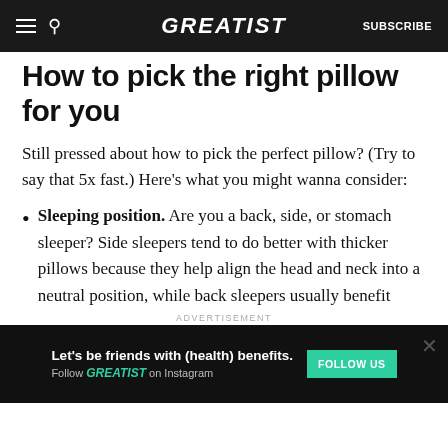GREATIST | SUBSCRIBE
How to pick the right pillow for you
Still pressed about how to pick the perfect pillow? (Try to say that 5x fast.) Here's what you might wanna consider:
Sleeping position. Are you a back, side, or stomach sleeper? Side sleepers tend to do better with thicker pillows because they help align the head and neck into a neutral position, while back sleepers usually benefit
ADVERTISEMENT
Let's be friends with (health) benefits. Follow GREATIST on Instagram